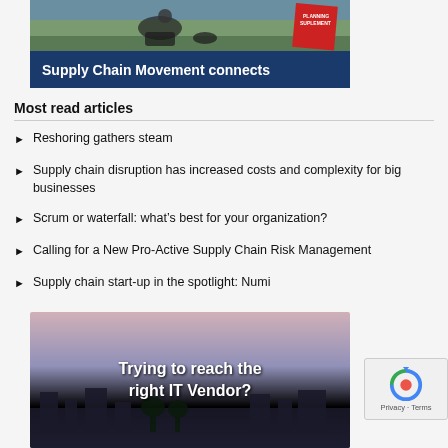[Figure (illustration): Supply Chain Movement banner with dark blue background and white bold text 'Supply Chain Movement connects', with photo of person on horse and a red badge in top section]
Most read articles
Reshoring gathers steam
Supply chain disruption has increased costs and complexity for big businesses
Scrum or waterfall: what's best for your organization?
Calling for a New Pro-Active Supply Chain Risk Management
Supply chain start-up in the spotlight: Numi
[Figure (photo): Banner with cityscape/building silhouette at dusk with text 'Trying to reach the right IT Vendor?' in white bold italic text]
[Figure (other): reCAPTCHA widget showing spinning arrows logo and 'Privacy - Terms' text]